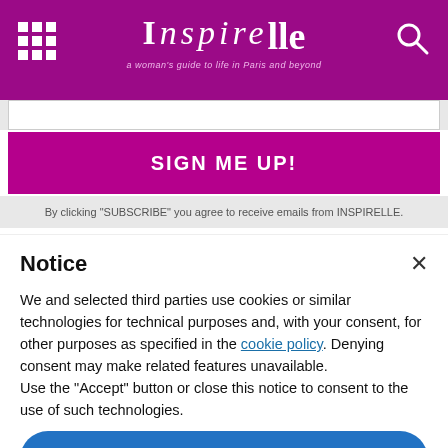INSPIRELLE — a woman's guide to life in Paris and beyond
SIGN ME UP!
By clicking "SUBSCRIBE" you agree to receive emails from INSPIRELLE.
Notice
We and selected third parties use cookies or similar technologies for technical purposes and, with your consent, for other purposes as specified in the cookie policy. Denying consent may make related features unavailable.
Use the "Accept" button or close this notice to consent to the use of such technologies.
Accept
Learn more and customize